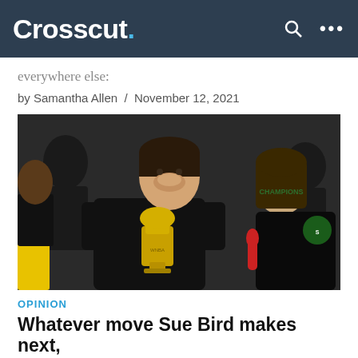Crosscut.
everywhere else:
by Samantha Allen / November 12, 2021
[Figure (photo): Sue Bird smiling and holding a WNBA championship trophy while being interviewed, surrounded by teammates in black Champions t-shirts]
OPINION
Whatever move Sue Bird makes next,